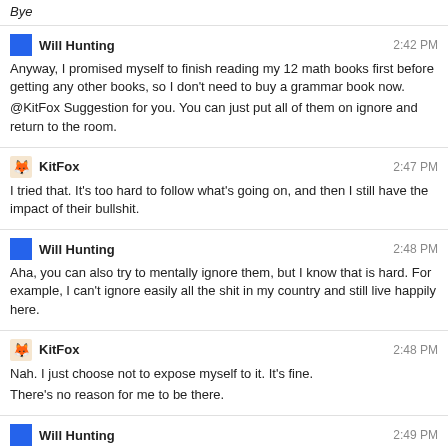Bye
Will Hunting 2:42 PM
Anyway, I promised myself to finish reading my 12 math books first before getting any other books, so I don't need to buy a grammar book now.
@KitFox Suggestion for you. You can just put all of them on ignore and return to the room.
KitFox 2:47 PM
I tried that. It's too hard to follow what's going on, and then I still have the impact of their bullshit.
Will Hunting 2:48 PM
Aha, you can also try to mentally ignore them, but I know that is hard. For example, I can't ignore easily all the shit in my country and still live happily here.
KitFox 2:48 PM
Nah. I just choose not to expose myself to it. It's fine.
There's no reason for me to be there.
Will Hunting 2:49 PM
Today's writing exercise. It will be later?
KitFox 2:52 PM
Yes.
Neil Fein 3:23 PM
@KitFox eeeeYello!